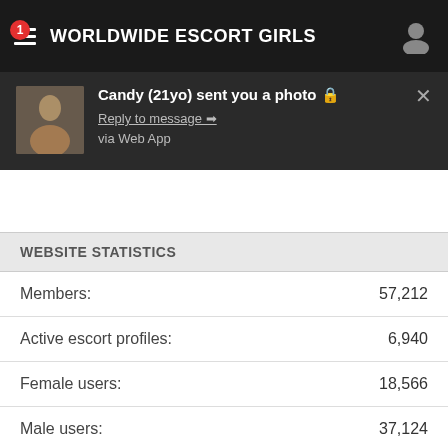WORLDWIDE ESCORT GIRLS
[Figure (screenshot): Notification popup: Candy (21yo) sent you a photo. Reply to message → via Web App]
WEBSITE STATISTICS
| Metric | Value |
| --- | --- |
| Members: | 57,212 |
| Active escort profiles: | 6,940 |
| Female users: | 18,566 |
| Male users: | 37,124 |
| TS-users: | 5,564 |
| Profiles with reviews: | 530 |
| All escorts ever: | 30,977 |